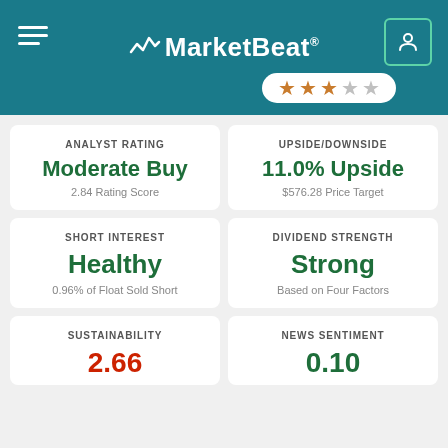MarketBeat
[Figure (infographic): 3 out of 5 stars rating displayed in a white pill/badge]
ANALYST RATING
Moderate Buy
2.84 Rating Score
UPSIDE/DOWNSIDE
11.0% Upside
$576.28 Price Target
SHORT INTEREST
Healthy
0.96% of Float Sold Short
DIVIDEND STRENGTH
Strong
Based on Four Factors
SUSTAINABILITY
2.66
NEWS SENTIMENT
0.10